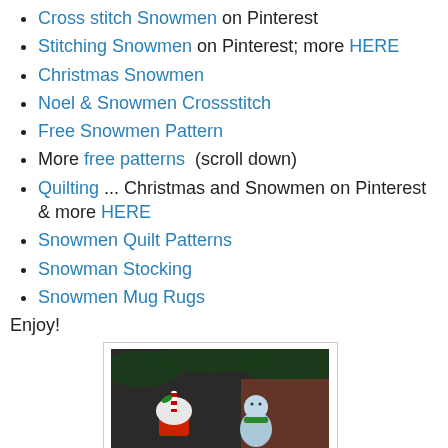Cross stitch Snowmen on Pinterest
Stitching Snowmen on Pinterest; more HERE
Christmas Snowmen
Noel & Snowmen Crossstitch
Free Snowmen Pattern
More free patterns  (scroll down)
Quilting ... Christmas and Snowmen on Pinterest & more HERE
Snowmen Quilt Patterns
Snowman Stocking
Snowmen Mug Rugs
Enjoy!
[Figure (photo): Photo of two Christmas ornaments outdoors: a cupcake ornament with red and white striped topper and red wrapper, and a snowman figurine with a green scarf, set against dark foliage and brick background.]